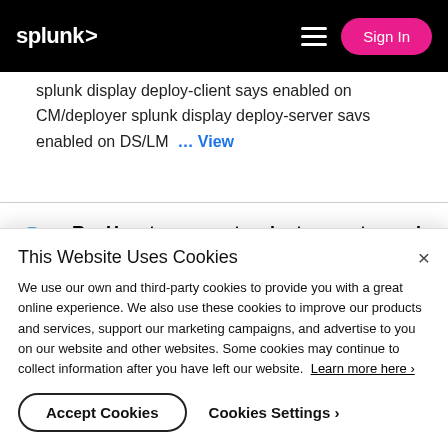splunk> | Sign In
splunk display deploy-client says enabled on CM/deployer splunk display deploy-server savs enabled on DS/LM ... View
Re: How to connect a cluster master node to a depl...
by chawagon02 in Deployment
This Website Uses Cookies
We use our own and third-party cookies to provide you with a great online experience. We also use these cookies to improve our products and services, support our marketing campaigns, and advertise to you on our website and other websites. Some cookies may continue to collect information after you have left our website. Learn more here ›
Accept Cookies   Cookies Settings ›